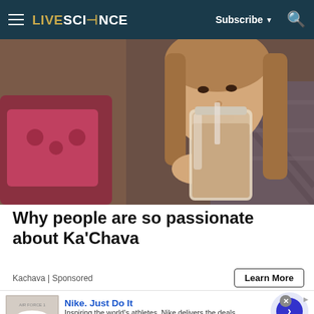LIVESCIENCE | Subscribe | Search
[Figure (photo): A young woman with long blonde hair drinking from a large glass mason jar containing a light brown smoothie or meal replacement shake, lying on a couch with colorful pillows in the background]
Why people are so passionate about Ka'Chava
Kachava | Sponsored
Learn More
[Figure (screenshot): Nike advertisement banner showing Nike Air Force 1 sneakers with text: Nike. Just Do It. Inspiring the world's athletes, Nike delivers the deals. www.nike.com]